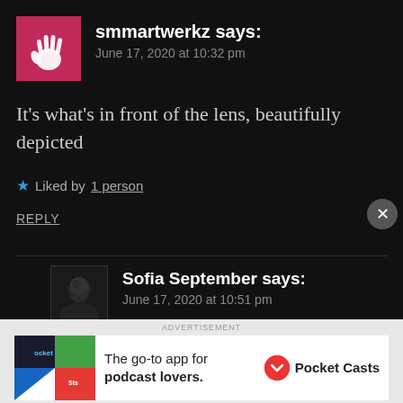[Figure (other): Pink avatar with white hand/splash logo for user smmartwerkz]
smmartwerkz says:
June 17, 2020 at 10:32 pm
It's what's in front of the lens, beautifully depicted
★ Liked by 1 person
REPLY
[Figure (photo): Dark avatar photo for user Sofia September]
Sofia September says:
June 17, 2020 at 10:51 pm
[Figure (other): Pocket Casts advertisement banner: The go-to app for podcast lovers.]